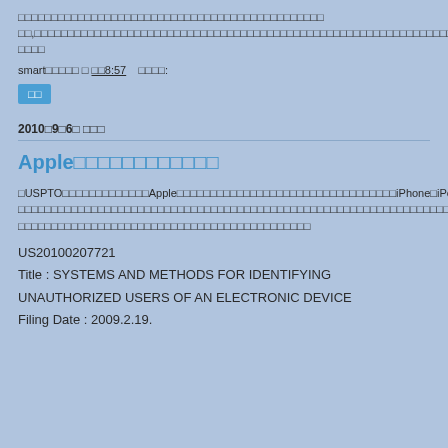□□□□□□□□□□□□□□□□□□□□□□□□□□□□□□□□□□□□□□□□□□□□□□
□□,□□□□□□□□□□□□□□□□□□□□□□□□□□□□□□□□□□□□□□□□□□□□□□□□□□□□□□□□□□□□□□□□□□□□□□□□□□□□□□□
□□□□
smart□□□□□ □ □□8:57    □□□□:
□□
2010□9□6□ □□□
Apple□□□□□□□□□□□□
□USPTO□□□□□□□□□□□□□Apple□□□□□□□□□□□□□□□□□□□□□□□□□□□□□□□□□iPhone□iPod□□□□□□□□□
□□□□□□□□□□□□□□□□□□□□□□□□□□□□□□□□□□□□□□□□□□□□□□□□□□□□□□□□□□□□□□□□□□□□□□□□□□□□□□□□□□□□□□□□□□
□□□□□□□□□□□□□□□□□□□□□□□□□□□□□□□□□□□□□□□□□□□□
US20100207721
Title : SYSTEMS AND METHODS FOR IDENTIFYING UNAUTHORIZED USERS OF AN ELECTRONIC DEVICE
Filing Date : 2009.2.19.